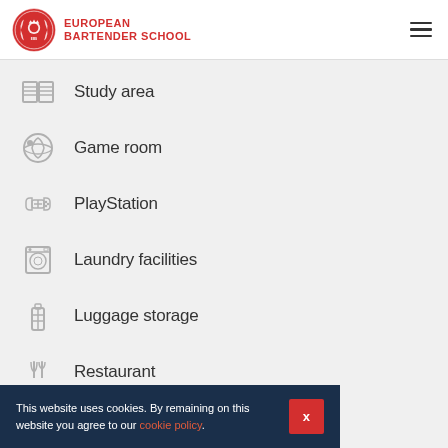European Bartender School
Study area
Game room
PlayStation
Laundry facilities
Luggage storage
Restaurant
This website uses cookies. By remaining on this website you agree to our cookie policy.